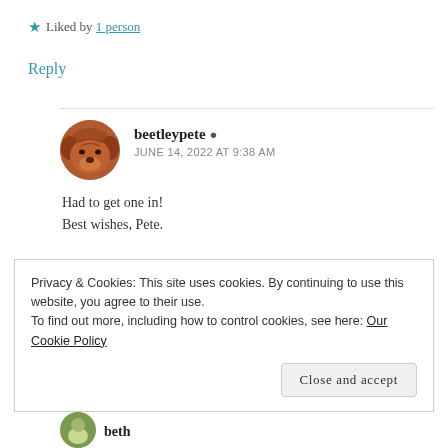★ Liked by 1 person
Reply
beetleypete ▲
JUNE 14, 2022 AT 9:38 AM
Had to get one in!
Best wishes, Pete.
Privacy & Cookies: This site uses cookies. By continuing to use this website, you agree to their use.
To find out more, including how to control cookies, see here: Our Cookie Policy
Close and accept
beth